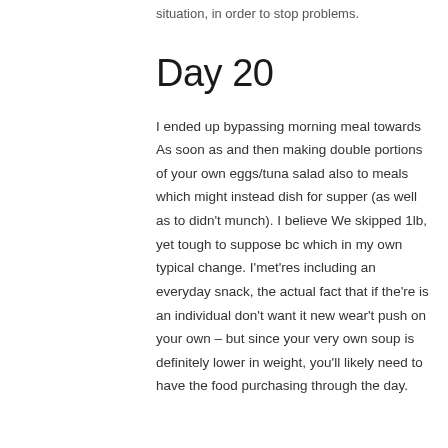situation, in order to stop problems.
Day 20
I ended up bypassing morning meal towards As soon as and then making double portions of your own eggs/tuna salad also to meals which might instead dish for supper (as well as to didn't munch). I believe We skipped 1lb, yet tough to suppose bc which in my own typical change. I'met'res including an everyday snack, the actual fact that if the're is an individual don't want it new wear't push on your own – but since your very own soup is definitely lower in weight, you'll likely need to have the food purchasing through the day.